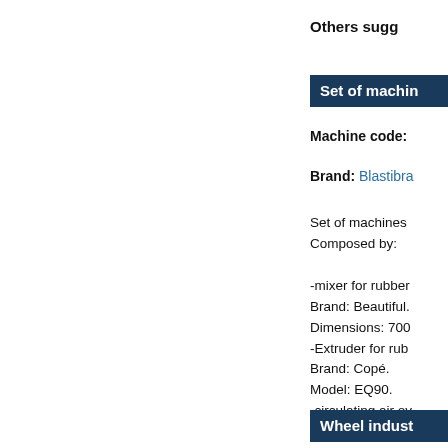Others sugg
Set of machin
Machine code:
Brand: Blastibra
Set of machines
Composed by:

-mixer for rubber
Brand: Beautiful.
Dimensions: 700
-Extruder for rub
Brand: Copé.
Model: EQ90.
-circulating air ov
-sandblast.
Brand Nam...
Wheel indust